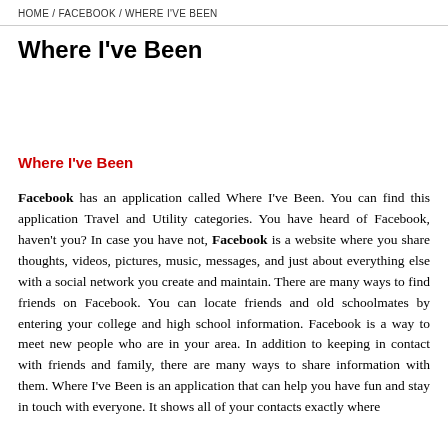HOME / FACEBOOK / WHERE I'VE BEEN
Where I've Been
Where I've Been
Facebook has an application called Where I've Been. You can find this application Travel and Utility categories. You have heard of Facebook, haven't you? In case you have not, Facebook is a website where you share thoughts, videos, pictures, music, messages, and just about everything else with a social network you create and maintain. There are many ways to find friends on Facebook. You can locate friends and old schoolmates by entering your college and high school information. Facebook is a way to meet new people who are in your area. In addition to keeping in contact with friends and family, there are many ways to share information with them. Where I've Been is an application that can help you have fun and stay in touch with everyone. It shows all of your contacts exactly where